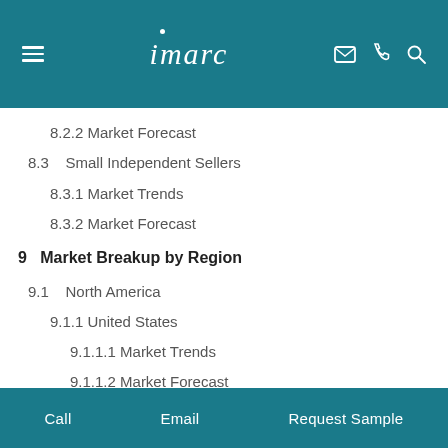imarc
8.2.2 Market Forecast
8.3   Small Independent Sellers
8.3.1 Market Trends
8.3.2 Market Forecast
9   Market Breakup by Region
9.1   North America
9.1.1 United States
9.1.1.1 Market Trends
9.1.1.2 Market Forecast
9.1.2 Canada
9.1.2.1 Market Trends
Call   Email   Request Sample